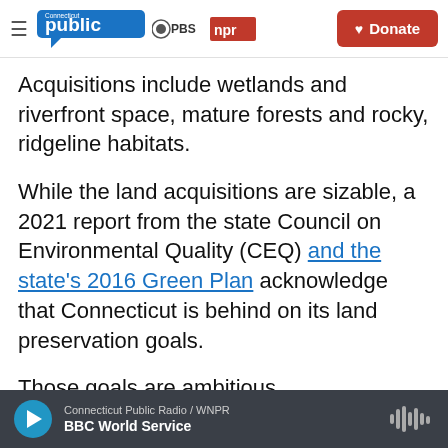Connecticut Public / PBS / NPR | Donate
Acquisitions include wetlands and riverfront space, mature forests and rocky, ridgeline habitats.
While the land acquisitions are sizable, a 2021 report from the state Council on Environmental Quality (CEQ) and the state’s 2016 Green Plan acknowledge that Connecticut is behind on its land preservation goals.
Those goals are ambitious.
State law says 21% of Connecticut’s land...
Connecticut Public Radio / WNPR | BBC World Service